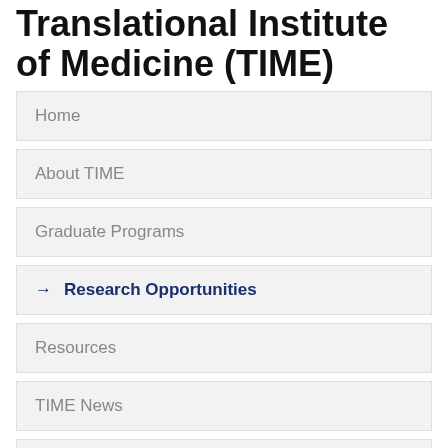Translational Institute of Medicine (TIME)
Home
About TIME
Graduate Programs
→ Research Opportunities
Resources
TIME News
Contact us